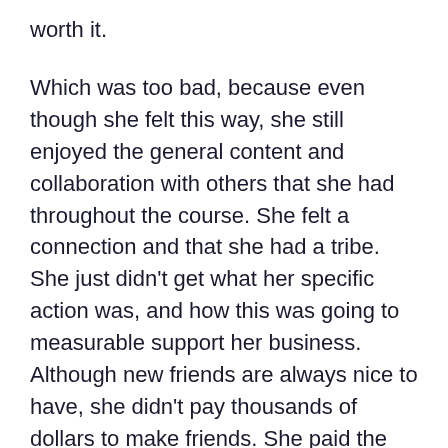worth it.
Which was too bad, because even though she felt this way, she still enjoyed the general content and collaboration with others that she had throughout the course. She felt a connection and that she had a tribe. She just didn't get what her specific action was, and how this was going to measurable support her business. Although new friends are always nice to have, she didn't pay thousands of dollars to make friends. She paid the money to grow her business.